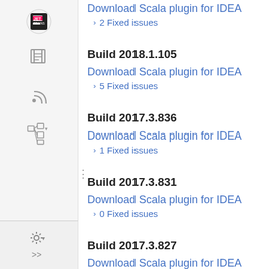[Figure (other): Sidebar with JetBrains-style navigation icons: logo, documents, RSS feed, tree structure, settings, and chevron]
Download Scala plugin for IDEA
› 2 Fixed issues
Build 2018.1.105
Download Scala plugin for IDEA
› 5 Fixed issues
Build 2017.3.836
Download Scala plugin for IDEA
› 1 Fixed issues
Build 2017.3.831
Download Scala plugin for IDEA
› 0 Fixed issues
Build 2017.3.827
Download Scala plugin for IDEA